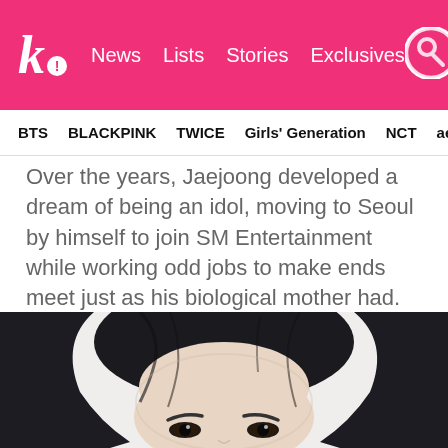k! News Lists Stories Exclusives [search icon]
BTS  BLACKPINK  TWICE  Girls' Generation  NCT  aespa
Over the years, Jaejoong developed a dream of being an idol, moving to Seoul by himself to join SM Entertainment while working odd jobs to make ends meet just as his biological mother had. As Jaejoong was so young when he was adopted, he grew up believing his adoptive parents were his birth parents—until his debut with TVXQ.
[Figure (photo): Close-up photo of a young man with dark hair, looking slightly downward, against a white background. Shows the top portion of his face including forehead, hair, and eyes.]